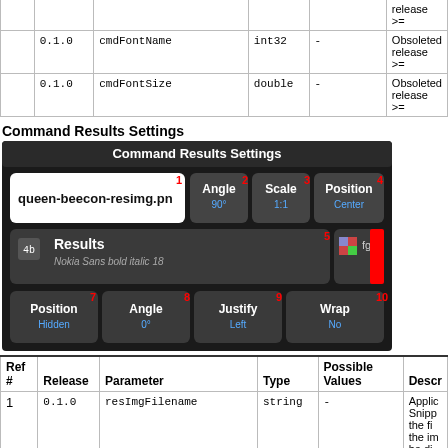|  | Ref Release | Parameter | Type | Possible Values | Description |
| --- | --- | --- | --- | --- | --- |
|  | 0.1.0 | cmdFontName | int32 | - | Obsoleted release >= |
|  | 0.1.0 | cmdFontSize | double | - | Obsoleted release >= |
Command Results Settings
[Figure (screenshot): Command Results Settings UI screenshot showing fields: queen-beecon-resimg.pn, Angle 90°, Scale 1:1, Position Center, Results Nokia Sans bold italic 18, fg color swatch, Position Hidden, Angle 0°, Justify Left, Wrap No. Numbered 1-10 in red.]
| Ref # | Release | Parameter | Type | Possible Values | Description |
| --- | --- | --- | --- | --- | --- |
| 1 | 0.1.0 | resImgFilename | string | - | Applic Snipp the fi the im be di as comp to the |